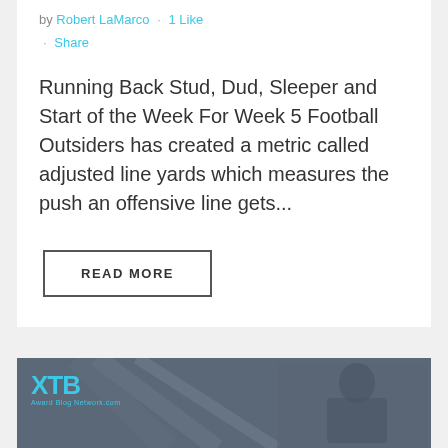by Robert LaMarco · 1 Like · Share
Running Back Stud, Dud, Sleeper and Start of the Week For Week 5 Football Outsiders has created a metric called adjusted line yards which measures the push an offensive line gets...
READ MORE
[Figure (logo): XTB logo with cyan text on a dark sports-themed banner background showing a football player]